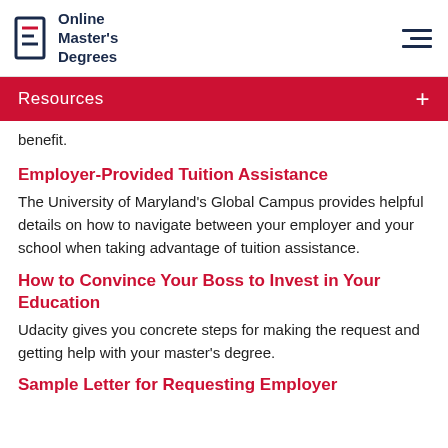Online Master's Degrees
Resources
benefit.
Employer-Provided Tuition Assistance
The University of Maryland's Global Campus provides helpful details on how to navigate between your employer and your school when taking advantage of tuition assistance.
How to Convince Your Boss to Invest in Your Education
Udacity gives you concrete steps for making the request and getting help with your master's degree.
Sample Letter for Requesting Employer